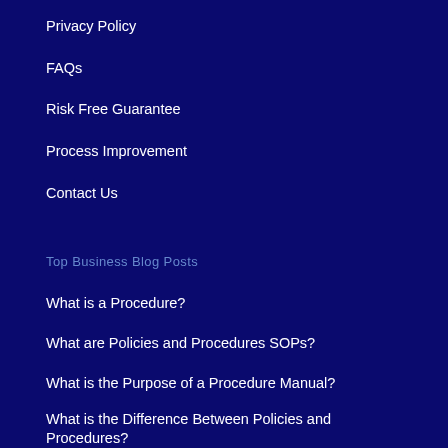Privacy Policy
FAQs
Risk Free Guarantee
Process Improvement
Contact Us
Top Business Blog Posts
What is a Procedure?
What are Policies and Procedures SOPs?
What is the Purpose of a Procedure Manual?
What is the Difference Between Policies and Procedures?
How to Create a Standard Operating Procedure